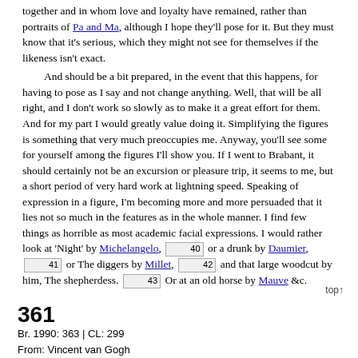together and in whom love and loyalty have remained, rather than portraits of Pa and Ma, although I hope they'll pose for it. But they must know that it's serious, which they might not see for themselves if the likeness isn't exact.
    And should be a bit prepared, in the event that this happens, for having to pose as I say and not change anything. Well, that will be all right, and I don't work so slowly as to make it a great effort for them. And for my part I would greatly value doing it. Simplifying the figures is something that very much preoccupies me. Anyway, you'll see some for yourself among the figures I'll show you. If I went to Brabant, it should certainly not be an excursion or pleasure trip, it seems to me, but a short period of very hard work at lightning speed. Speaking of expression in a figure, I'm becoming more and more persuaded that it lies not so much in the features as in the whole manner. I find few things as horrible as most academic facial expressions. I would rather look at 'Night' by Michelangelo, [40] or a drunk by Daumier, [41] or The diggers by Millet, [42] and that large woodcut by him, The shepherdess. [43] Or at an old horse by Mauve &c.
top↑
361
Br. 1990: 363 | CL: 299
From: Vincent van Gogh
To: Theo van Gogh